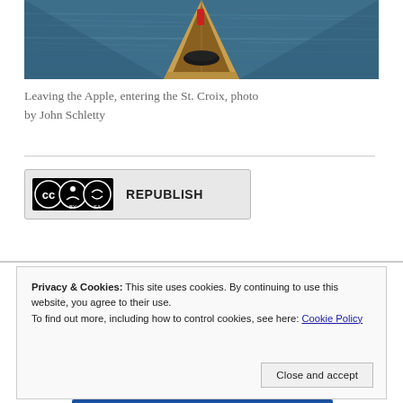[Figure (photo): Aerial/bow view of a canoe on dark rippling water, canoe tip visible in center foreground pointing into the St. Croix river]
Leaving the Apple, entering the St. Croix, photo by John Schletty
[Figure (logo): Creative Commons BY SA license badge with REPUBLISH text]
Privacy & Cookies: This site uses cookies. By continuing to use this website, you agree to their use.
To find out more, including how to control cookies, see here: Cookie Policy